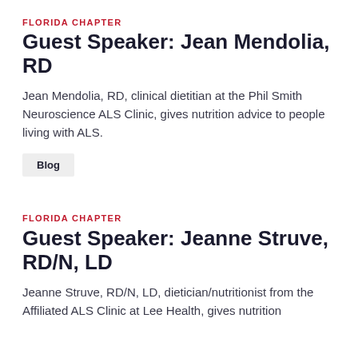FLORIDA CHAPTER
Guest Speaker: Jean Mendolia, RD
Jean Mendolia, RD, clinical dietitian at the Phil Smith Neuroscience ALS Clinic, gives nutrition advice to people living with ALS.
Blog
FLORIDA CHAPTER
Guest Speaker: Jeanne Struve, RD/N, LD
Jeanne Struve, RD/N, LD, dietician/nutritionist from the Affiliated ALS Clinic at Lee Health, gives nutrition